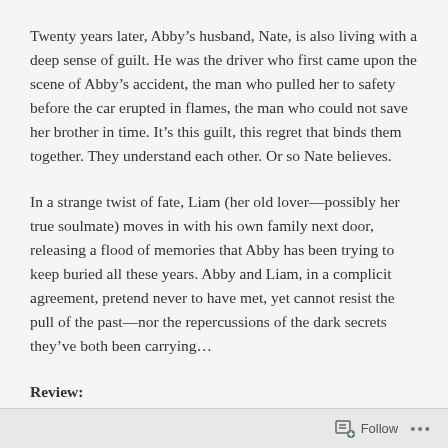Twenty years later, Abby's husband, Nate, is also living with a deep sense of guilt. He was the driver who first came upon the scene of Abby's accident, the man who pulled her to safety before the car erupted in flames, the man who could not save her brother in time. It's this guilt, this regret that binds them together. They understand each other. Or so Nate believes.
In a strange twist of fate, Liam (her old lover—possibly her true soulmate) moves in with his own family next door, releasing a flood of memories that Abby has been trying to keep buried all these years. Abby and Liam, in a complicit agreement, pretend never to have met, yet cannot resist the pull of the past—nor the repercussions of the dark secrets they've both been carrying…
Review:
Follow ···